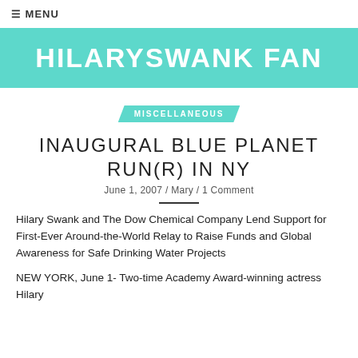≡ MENU
HILARYSWANK FAN
MISCELLANEOUS
INAUGURAL BLUE PLANET RUN(R) IN NY
June 1, 2007 / Mary / 1 Comment
Hilary Swank and The Dow Chemical Company Lend Support for First-Ever Around-the-World Relay to Raise Funds and Global Awareness for Safe Drinking Water Projects
NEW YORK, June 1- Two-time Academy Award-winning actress Hilary